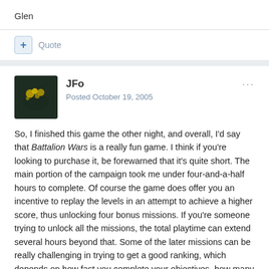Glen
+ Quote
JFo
Posted October 19, 2005
So, I finished this game the other night, and overall, I'd say that Battalion Wars is a really fun game. I think if you're looking to purchase it, be forewarned that it's quite short. The main portion of the campaign took me under four-and-a-half hours to complete. Of course the game does offer you an incentive to replay the levels in an attempt to achieve a higher score, thus unlocking four bonus missions. If you're someone trying to unlock all the missions, the total playtime can extend several hours beyond that. Some of the later missions can be really challenging in trying to get a good ranking, which depends on how fast you complete your objectives, how many of your troops survive, and how many enemies you kill.